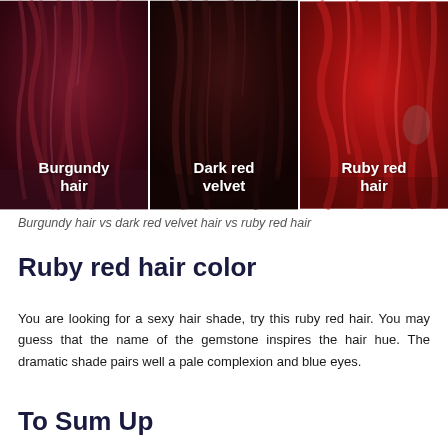[Figure (photo): Three side-by-side photos of hair colors: Burgundy hair (left, deep wine-red), Dark red velvet (center, very dark brownish-red), Ruby red hair (right, bright vivid red). Each photo has a white bold label overlaid at the bottom.]
Burgundy hair vs dark red velvet hair vs ruby red hair
Ruby red hair color
You are looking for a sexy hair shade, try this ruby red hair. You may guess that the name of the gemstone inspires the hair hue. The dramatic shade pairs well a pale complexion and blue eyes.
To Sum Up